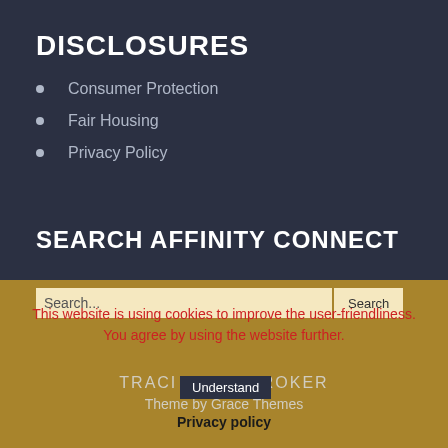DISCLOSURES
Consumer Protection
Fair Housing
Privacy Policy
SEARCH AFFINITY CONNECT
This website is using cookies to improve the user-friendliness. You agree by using the website further.
TRACI REED, BROKER
Theme by Grace Themes
Privacy policy